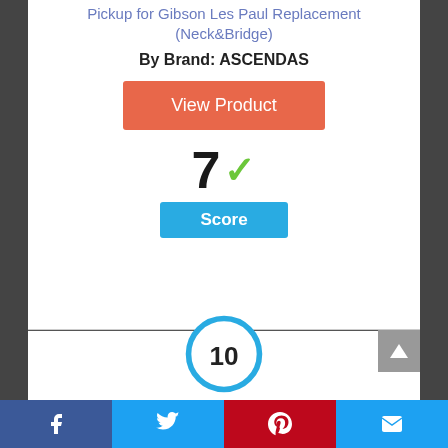Pickup for Gibson Les Paul Replacement (Neck&Bridge)
By Brand: ASCENDAS
View Product
7 ✓
Score
[Figure (other): Circle badge showing score of 10 in blue ring]
Facebook | Twitter | Pinterest | Mail social share bar